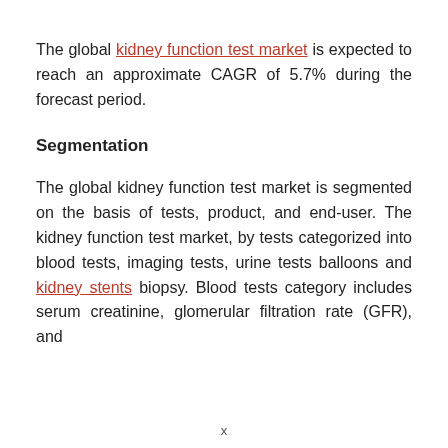The global kidney function test market is expected to reach an approximate CAGR of 5.7% during the forecast period.
Segmentation
The global kidney function test market is segmented on the basis of tests, product, and end-user. The kidney function test market, by tests categorized into blood tests, imaging tests, urine tests balloons and kidney stents biopsy. Blood tests category includes serum creatinine, glomerular filtration rate (GFR), and
x